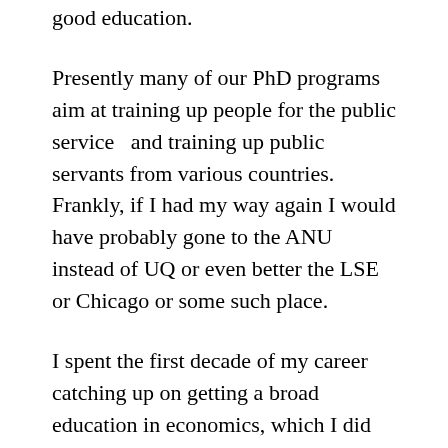good education.
Presently many of our PhD programs aim at training up people for the public service  and training up public servants from various countries. Frankly, if I had my way again I would have probably gone to the ANU instead of UQ or even better the LSE or Chicago or some such place.
I spent the first decade of my career catching up on getting a broad education in economics, which I did by teaching classes outside my field of expertise. It was very hard. In fact I remember the first time I taught game theory. I had no clue what a sequential equilibrium in an extensive form game was. I had to learn on